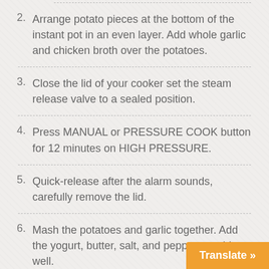2. Arrange potato pieces at the bottom of the instant pot in an even layer. Add whole garlic and chicken broth over the potatoes.
3. Close the lid of your cooker set the steam release valve to a sealed position.
4. Press MANUAL or PRESSURE COOK button for 12 minutes on HIGH PRESSURE.
5. Quick-release after the alarm sounds, carefully remove the lid.
6. Mash the potatoes and garlic together. Add the yogurt, butter, salt, and pepper, combine well.